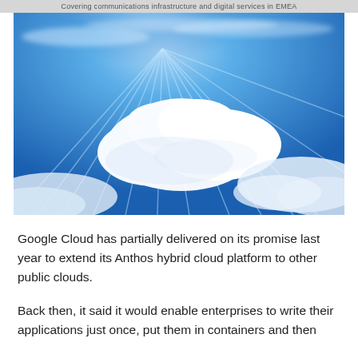Covering communications infrastructure and digital services in EMEA
[Figure (photo): Blue sky with bright sunrays and large white clouds, viewed from below]
Google Cloud has partially delivered on its promise last year to extend its Anthos hybrid cloud platform to other public clouds.
Back then, it said it would enable enterprises to write their applications just once, put them in containers and then